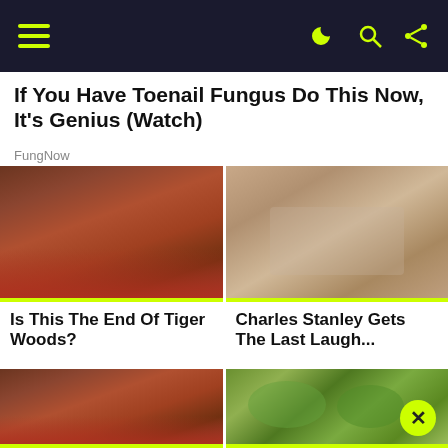navigation header with hamburger menu and icons
If You Have Toenail Fungus Do This Now, It's Genius (Watch)
FungNow
[Figure (photo): Close-up photo of a man (Tiger Woods) in red, emotional expression]
[Figure (photo): Close-up photo of an older smiling man (Charles Stanley) with glasses]
Is This The End Of Tiger Woods?
Charles Stanley Gets The Last Laugh...
[Figure (photo): Close-up photo of a man (Tiger Woods) in red, emotional expression]
[Figure (photo): Close-up photo of cucumber slices in water]